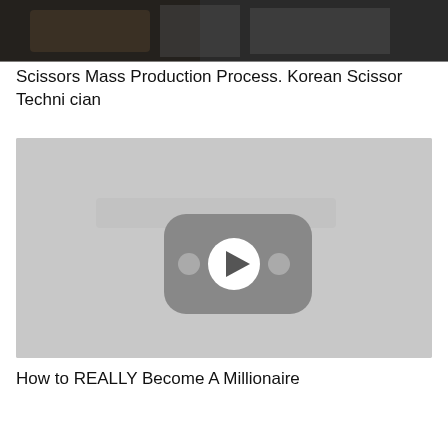[Figure (screenshot): Dark industrial machinery image at top of page, cropped screenshot of scissors mass production process video thumbnail]
Scissors Mass Production Process. Korean Scissor Technician
[Figure (screenshot): Light grey video thumbnail placeholder with YouTube-style play button icon in center (rounded rectangle with play arrow, two dot decorations on sides)]
How to REALLY Become A Millionaire